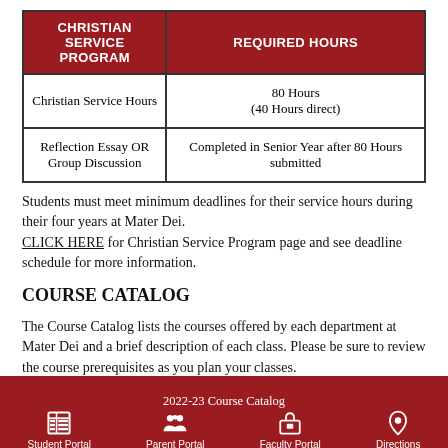| CHRISTIAN SERVICE PROGRAM | REQUIRED HOURS |
| --- | --- |
| Christian Service Hours | 80 Hours
(40 Hours direct) |
| Reflection Essay OR
Group Discussion | Completed in Senior Year after 80 Hours submitted |
Students must meet minimum deadlines for their service hours during their four years at Mater Dei. CLICK HERE for Christian Service Program page and see deadline schedule for more information.
COURSE CATALOG
The Course Catalog lists the courses offered by each department at Mater Dei and a brief description of each class. Please be sure to review the course prerequisites as you plan your classes.
2022-23 Course Catalog
Student Portal | Parent Portal | Faculty Portal | Directions